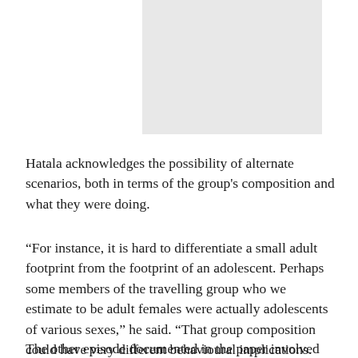[Figure (photo): A light grey rectangular image placeholder at the top of the page]
Hatala acknowledges the possibility of alternate scenarios, both in terms of the group's composition and what they were doing.
“For instance, it is hard to differentiate a small adult footprint from the footprint of an adolescent. Perhaps some members of the travelling group who we estimate to be adult females were actually adolescents of various sexes,” he said. “That group composition could have very different behavioural implications. Regardless, the pattern that we estimate is intriguing, and we hope that this study highlights the potential utility of fossil footprints for identifying behavioural patterns in the fossil record.”
The other episode documented in the paper involved six